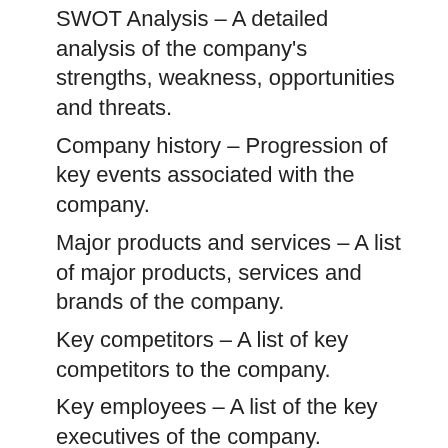SWOT Analysis – A detailed analysis of the company's strengths, weakness, opportunities and threats.
Company history – Progression of key events associated with the company.
Major products and services – A list of major products, services and brands of the company.
Key competitors – A list of key competitors to the company.
Key employees – A list of the key executives of the company.
Executive biographies – A brief summary of the executives' employment history.
Key operational heads – A list of personnel heading key departments/functions.
Important locations and subsidiaries – A list and contact details of key locations and subsidiaries of